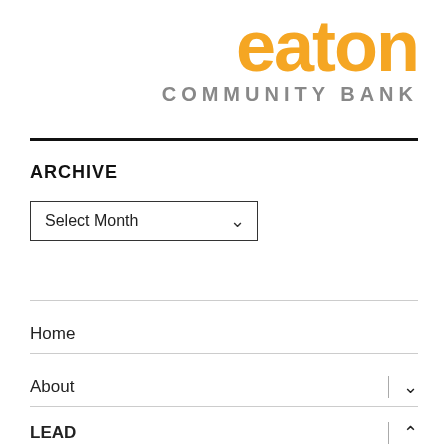[Figure (logo): Eaton Community Bank logo — 'eaton' in large orange script/bold font, 'COMMUNITY BANK' in gray spaced capitals beneath]
ARCHIVE
Select Month
Home
About
LEAD